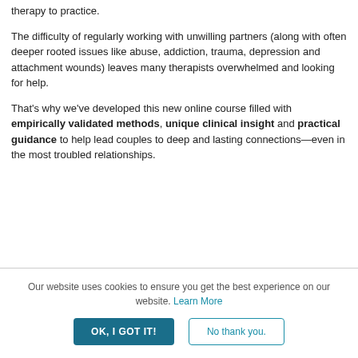therapy to practice.
The difficulty of regularly working with unwilling partners (along with often deeper rooted issues like abuse, addiction, trauma, depression and attachment wounds) leaves many therapists overwhelmed and looking for help.
That's why we've developed this new online course filled with empirically validated methods, unique clinical insight and practical guidance to help lead couples to deep and lasting connections—even in the most troubled relationships.
Our website uses cookies to ensure you get the best experience on our website. Learn More